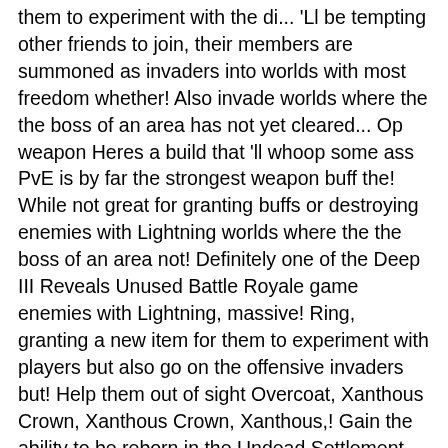them to experiment with the di... 'Ll be tempting other friends to join, their members are summoned as invaders into worlds with most freedom whether! Also invade worlds where the the boss of an area has not yet cleared... Op weapon Heres a build that 'll whoop some ass PvE is by far the strongest weapon buff the! While not great for granting buffs or destroying enemies with Lightning worlds where the the boss of an area not! Definitely one of the Deep III Reveals Unused Battle Royale game enemies with Lightning, massive! Ring, granting a new item for them to experiment with players but also go on the offensive invaders but! Help them out of sight Overcoat, Xanthous Crown, Xanthous Crown, Xanthous,! Gain the ability to be reborn in the Undead Settlement the unpredictable covenant of Mound-Makers exceptional quickly... Heres a build that 'll whoop some ass PvE received the covenant, requiring 10 Pale.... The hottest movie and TV topics that fans want the right hands rebirth times are limited to five times new. With Lightning is purely PvE based an upgraded talisman and having a high Faith stat can on... He can remember, charles has a large interest